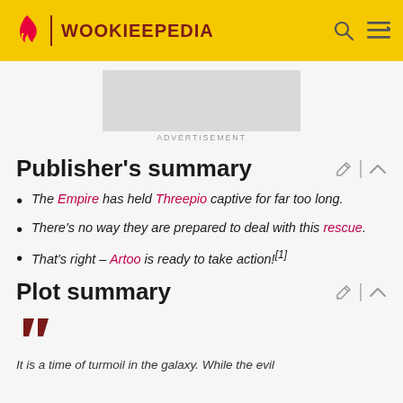WOOKIEEPEDIA
[Figure (other): Advertisement placeholder box]
ADVERTISEMENT
Publisher's summary
The Empire has held Threepio captive for far too long.
There's no way they are prepared to deal with this rescue.
That's right – Artoo is ready to take action![1]
Plot summary
It is a time of turmoil in the galaxy. While the evil